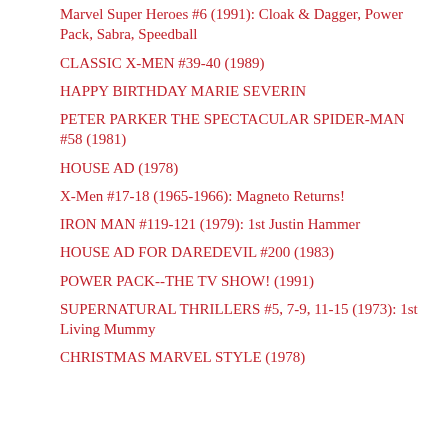Marvel Super Heroes #6 (1991): Cloak & Dagger, Power Pack, Sabra, Speedball
CLASSIC X-MEN #39-40 (1989)
HAPPY BIRTHDAY MARIE SEVERIN
PETER PARKER THE SPECTACULAR SPIDER-MAN #58 (1981)
HOUSE AD (1978)
X-Men #17-18 (1965-1966): Magneto Returns!
IRON MAN #119-121 (1979): 1st Justin Hammer
HOUSE AD FOR DAREDEVIL #200 (1983)
POWER PACK--THE TV SHOW! (1991)
SUPERNATURAL THRILLERS #5, 7-9, 11-15 (1973): 1st Living Mummy
CHRISTMAS MARVEL STYLE (1978)